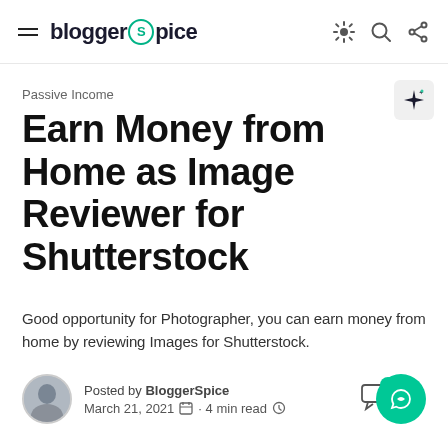blogger spice
Passive Income
Earn Money from Home as Image Reviewer for Shutterstock
Good opportunity for Photographer, you can earn money from home by reviewing Images for Shutterstock.
Posted by BloggerSpice
March 21, 2021 · 4 min read